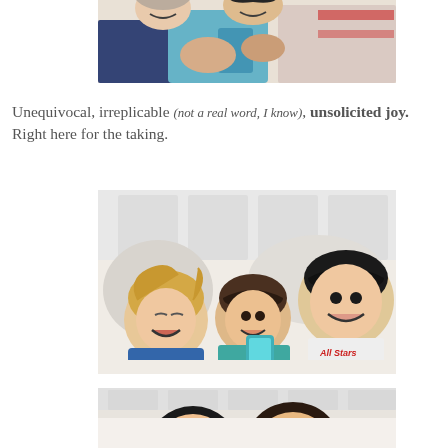[Figure (photo): Children laughing and looking at a phone, cropped at top of page]
Unequivocal, irreplicable (not a real word, I know), unsolicited joy. Right here for the taking.
[Figure (photo): Three children laughing together on a bed looking at a teal phone, with a boy in an All Stars shirt]
[Figure (photo): Children together, partially visible, cropped at bottom of page]